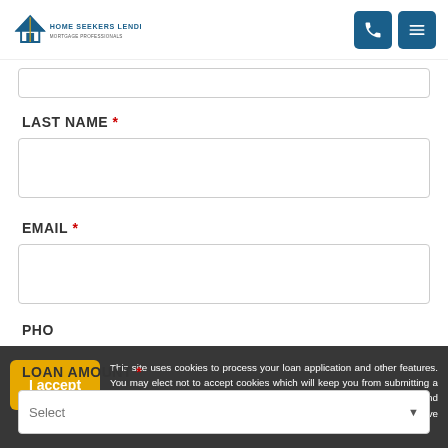[Figure (logo): Home Seekers Lending logo with house icon]
LAST NAME *
EMAIL *
I accept
This site uses cookies to process your loan application and other features. You may elect not to accept cookies which will keep you from submitting a loan application. By your clicked consent/acceptance you acknowledge and allow the use of cookies. By clicking I Accept you acknowledge you have read and understand Home Seekers Lending's Privacy Policy.
LOAN AMOUNT *